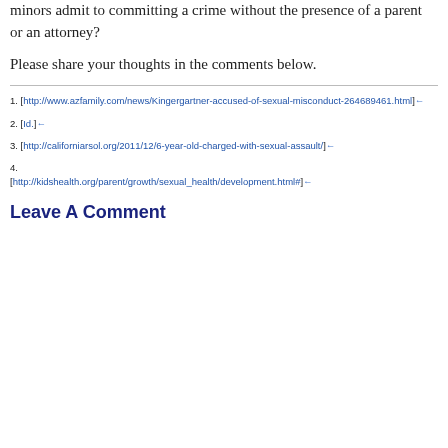minors admit to committing a crime without the presence of a parent or an attorney?
Please share your thoughts in the comments below.
1. [http://www.azfamily.com/news/Kingergartner-accused-of-sexual-misconduct-264689461.html]←
2. [Id.]←
3. [http://californiarsol.org/2011/12/6-year-old-charged-with-sexual-assault/]←
4. [http://kidshealth.org/parent/growth/sexual_health/development.html#]←
Leave A Comment